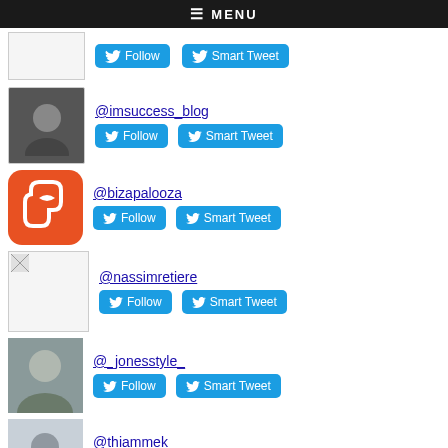≡ MENU
[Figure (screenshot): Partial user row at top with Follow and Smart Tweet buttons]
@imsuccess_blog
@bizapalooza
@nassimretiere
@_jonesstyle_
@thiammek
@gosquad22
Top Mentioned in G2:
@zenyinger